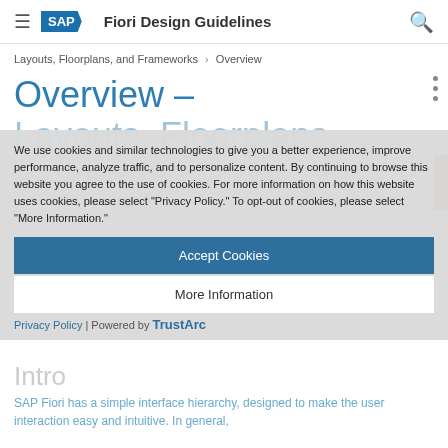SAP Fiori Design Guidelines
Layouts, Floorplans, and Frameworks > Overview
Overview – Layouts, Floorplans, and Frameworks
We use cookies and similar technologies to give you a better experience, improve performance, analyze traffic, and to personalize content. By continuing to browse this website you agree to the use of cookies. For more information on how this website uses cookies, please select "Privacy Policy." To opt-out of cookies, please select "More Information."
Accept Cookies
More Information
Privacy Policy | Powered by TrustArc
Intro
SAP Fiori has a simple interface hierarchy, designed to make the user interaction easy and intuitive. In general,